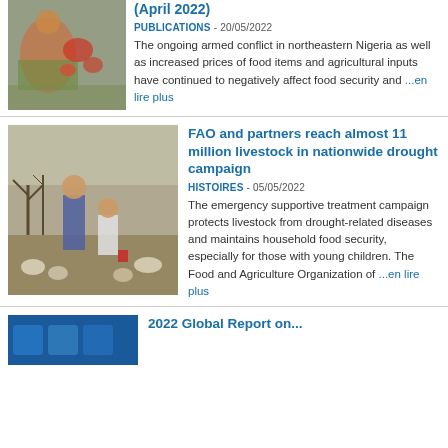(April 2022)
PUBLICATIONS - 20/05/2022
The ongoing armed conflict in northeastern Nigeria as well as increased prices of food items and agricultural inputs have continued to negatively affect food security and ...en lire plus
[Figure (photo): Person picking tomatoes in a field]
FAO and partners reach almost 11 million livestock in nationwide drought campaign
HISTOIRES - 05/05/2022
The emergency supportive treatment campaign protects livestock from drought-related diseases and maintains household food security, especially for those with young children. The Food and Agriculture Organization of ...en lire plus
[Figure (photo): Two people attending to livestock in a dry landscape]
2022 Global Report on...